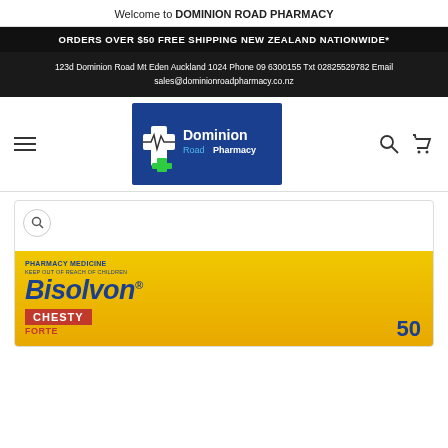Welcome to DOMINION ROAD PHARMACY
ORDERS OVER $50 FREE SHIPPING NEW ZEALAND NATIONWIDE*
123d Dominion Road Mt Eden Auckland 1024 Phone 09 6300155 Txt 02825529782 Email sales@dominionroadpharmacy.co.nz
[Figure (logo): Dominion Road Pharmacy logo — white cross with ECG line on blue background, green cross accent]
[Figure (photo): Bisolvon Chesty Forte 50 tablets pharmacy medicine product packaging on yellow/gold gradient background]